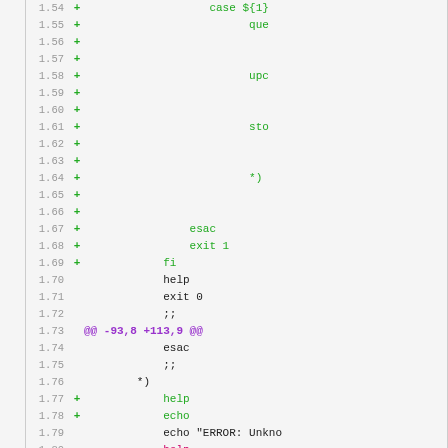[Figure (screenshot): Diff view of a shell script showing added, removed, and context lines with line numbers and +/- markers. Lines 1.54 through 1.83 are visible. Added lines (green +) include shell code such as 'case ${1}', 'quit', 'update', 'stop', '*)', 'esac', 'exit 1', 'fi', 'help', 'echo'. A hunk header '@@ -93,8 +113,9 @@' appears at line 1.73. A removed line (red -) shows 'help'. Context lines include 'help', 'exit 0', ';;', 'esac', ';;', '*)', 'echo "ERROR: Unkno..."', 'exit 1', ';;', 'esac'.]